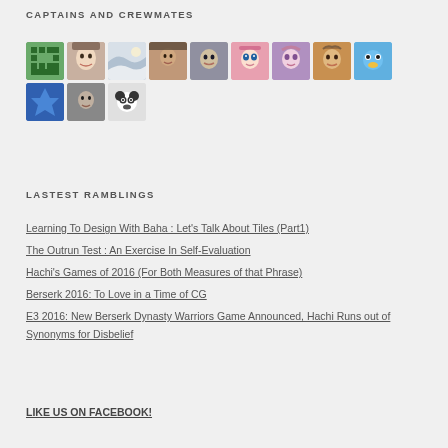CAPTAINS AND CREWMATES
[Figure (illustration): A row of 11 small square avatar images representing various user profile pictures, plus one more panda avatar on a second row. Avatars include pixel art, manga characters, landscapes, anime faces, a bird, and other illustrated characters.]
LASTEST RAMBLINGS
Learning To Design With Baha : Let's Talk About Tiles (Part1)
The Outrun Test : An Exercise In Self-Evaluation
Hachi's Games of 2016 (For Both Measures of that Phrase)
Berserk 2016: To Love in a Time of CG
E3 2016: New Berserk Dynasty Warriors Game Announced, Hachi Runs out of Synonyms for Disbelief
LIKE US ON FACEBOOK!